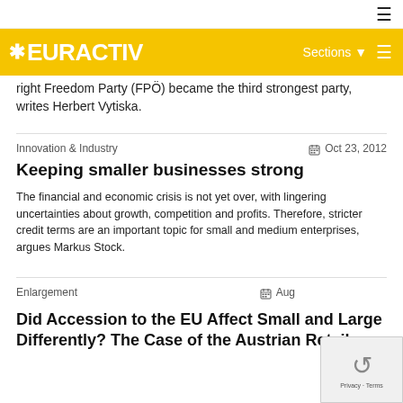EURACTIV — Sections ☰
right Freedom Party (FPÖ) became the third strongest party, writes Herbert Vytiska.
Innovation & Industry   Oct 23, 2012
Keeping smaller businesses strong
The financial and economic crisis is not yet over, with lingering uncertainties about growth, competition and profits. Therefore, stricter credit terms are an important topic for small and medium enterprises, argues Markus Stock.
Enlargement   Aug
Did Accession to the EU Affect Small and Large Differently? The Case of the Austrian Retail an